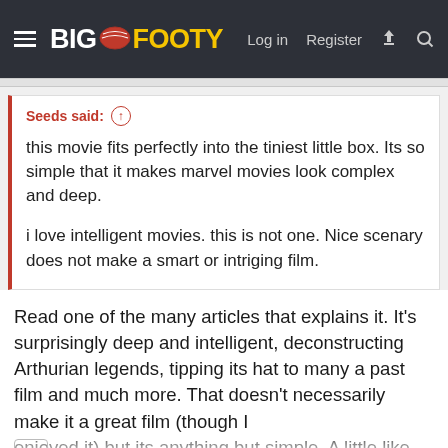BigFooty — Log in  Register
Seeds said:
this movie fits perfectly into the tiniest little box. Its so simple that it makes marvel movies look complex and deep.

i love intelligent movies. this is not one. Nice scenary does not make a smart or intriging film.
Read one of the many articles that explains it. It's surprisingly deep and intelligent, deconstructing Arthurian legends, tipping its hat to many a past film and much more. That doesn't necessarily make it a great film (though I enjoyed it) but its anything but simple. A little like I'm of Feeling This about the world and...